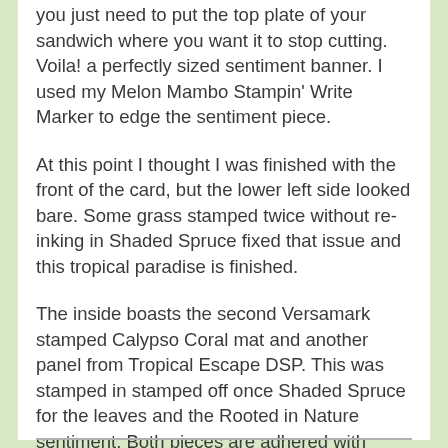you just need to put the top plate of your sandwich where you want it to stop cutting. Voila! a perfectly sized sentiment banner. I used my Melon Mambo Stampin' Write Marker to edge the sentiment piece.
At this point I thought I was finished with the front of the card, but the lower left side looked bare. Some grass stamped twice without re-inking in Shaded Spruce fixed that issue and this tropical paradise is finished.
The inside boasts the second Versamark stamped Calypso Coral mat and another panel from Tropical Escape DSP. This was stamped in stamped off once Shaded Spruce for the leaves and the Rooted in Nature sentiment. Both pieces are adhered with Liquid glue.